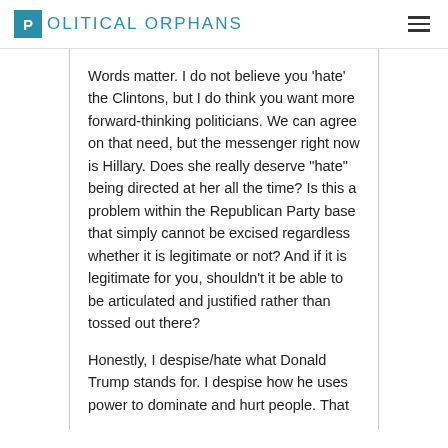POLITICAL ORPHANS
Words matter. I do not believe you ‘hate’ the Clintons, but I do think you want more forward-thinking politicians. We can agree on that need, but the messenger right now is Hillary. Does she really deserve “hate” being directed at her all the time? Is this a problem within the Republican Party base that simply cannot be excised regardless whether it is legitimate or not? And if it is legitimate for you, shouldn’t it be able to be articulated and justified rather than tossed out there?
Honestly, I despise/hate what Donald Trump stands for. I despise how he uses power to dominate and hurt people. That